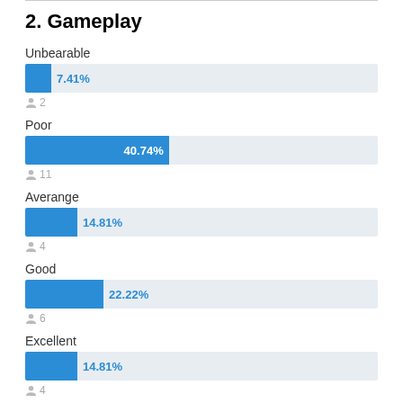2. Gameplay
[Figure (bar-chart): Gameplay ratings]